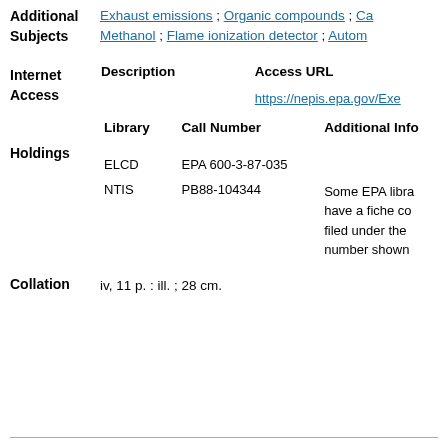Additional Subjects: Exhaust emissions ; Organic compounds ; Ca... Methanol ; Flame ionization detector ; Autom...
| Description | Access URL |
| --- | --- |
|  | https://nepis.epa.gov/Exe... |
| Library | Call Number | Additional Info |
| --- | --- | --- |
| ELCD | EPA 600-3-87-035 |  |
| NTIS | PB88-104344 | Some EPA libra... have a fiche co... filed under the... number shown... |
Collation   iv, 11 p. : ill. ; 28 cm.